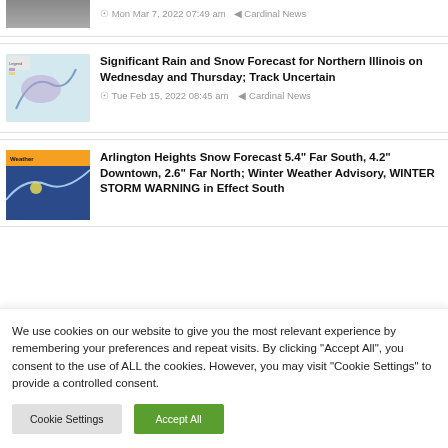[Figure (photo): Partial top thumbnail image, cropped at top of page]
Mon Mar 7, 2022 07:49 am   Cardinal News
[Figure (map): Weather map thumbnail showing rain and snow forecast]
Significant Rain and Snow Forecast for Northern Illinois on Wednesday and Thursday; Track Uncertain
Tue Feb 15, 2022 08:45 am   Cardinal News
[Figure (screenshot): Weather forecast screenshot thumbnail]
Arlington Heights Snow Forecast 5.4” Far South, 4.2” Downtown, 2.6” Far North; Winter Weather Advisory, WINTER STORM WARNING in Effect South
We use cookies on our website to give you the most relevant experience by remembering your preferences and repeat visits. By clicking “Accept All”, you consent to the use of ALL the cookies. However, you may visit "Cookie Settings" to provide a controlled consent.